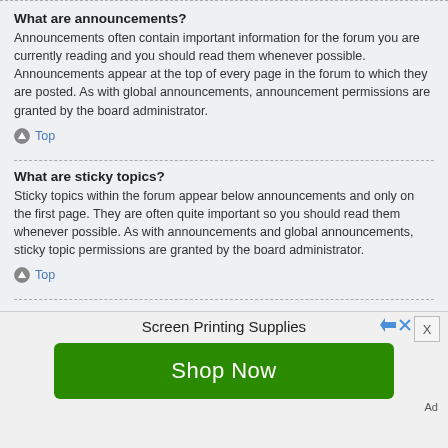What are announcements?
Announcements often contain important information for the forum you are currently reading and you should read them whenever possible. Announcements appear at the top of every page in the forum to which they are posted. As with global announcements, announcement permissions are granted by the board administrator.
Top
What are sticky topics?
Sticky topics within the forum appear below announcements and only on the first page. They are often quite important so you should read them whenever possible. As with announcements and global announcements, sticky topic permissions are granted by the board administrator.
Top
What are locked topics?
Locked topics are topics where users can no longer reply and any poll it
[Figure (other): Advertisement banner: Screen Printing Supplies with Shop Now button]